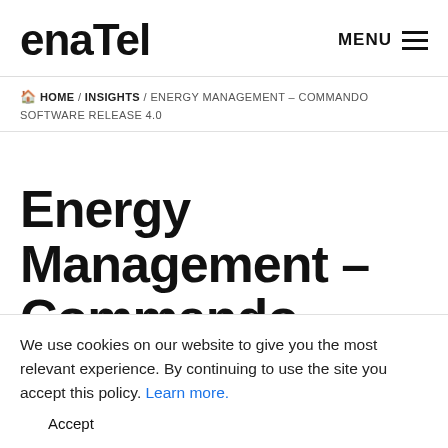enaTel
HOME / INSIGHTS / ENERGY MANAGEMENT – COMMANDO SOFTWARE RELEASE 4.0
Energy Management – Commando Software
We use cookies on our website to give you the most relevant experience. By continuing to use the site you accept this policy. Learn more.
Accept